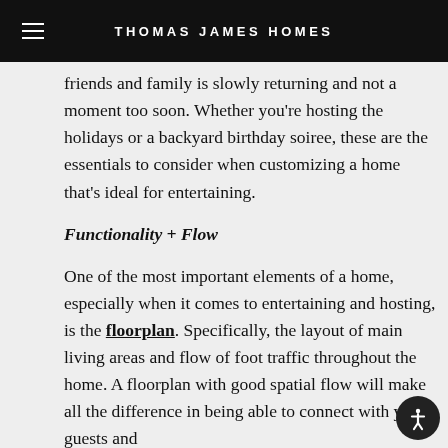THOMAS JAMES HOMES
friends and family is slowly returning and not a moment too soon. Whether you're hosting the holidays or a backyard birthday soiree, these are the essentials to consider when customizing a home that's ideal for entertaining.
Functionality + Flow
One of the most important elements of a home, especially when it comes to entertaining and hosting, is the floorplan. Specifically, the layout of main living areas and flow of foot traffic throughout the home. A floorplan with good spatial flow will make all the difference in being able to connect with your guests and